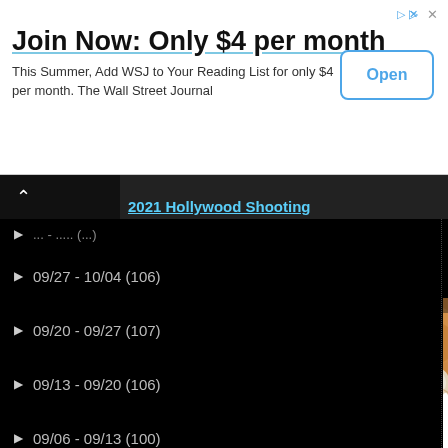[Figure (screenshot): Advertisement banner for Wall Street Journal subscription: 'Join Now: Only $4 per month' with Open button]
Join Now: Only $4 per month
This Summer, Add WSJ to Your Reading List for only $4 per month. The Wall Street Journal
[Figure (screenshot): Web page screenshot showing a blog archive list with date ranges and post counts, alongside a video panel showing '2021 Hollywood Shooting', subscribe/Disqus options, a sponsored image of a finger/nail, and an overlay popup with close button]
09/27 - 10/04 (106)
09/20 - 09/27 (107)
09/13 - 09/20 (106)
09/06 - 09/13 (100)
08/30 - 09/06 (105)
08/23 - 08/30 (104)
08/16 - 08/23 (103)
08/09 - 08/16 (109)
08/02 - 08/09 (105)
07/26 - 08/02 (94)
07 (partial)
Subscribe
Add Disqus to yo
Sponsored